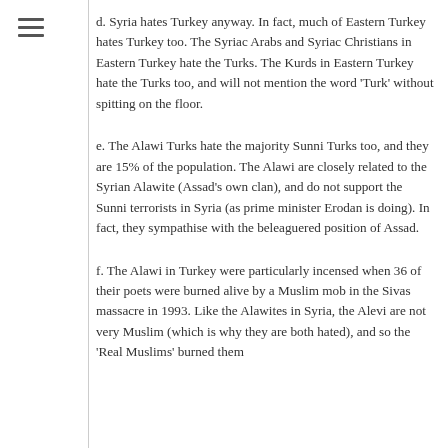d. Syria hates Turkey anyway. In fact, much of Eastern Turkey hates Turkey too. The Syriac Arabs and Syriac Christians in Eastern Turkey hate the Turks. The Kurds in Eastern Turkey hate the Turks too, and will not mention the word ‘Turk’ without spitting on the floor.
e. The Alawi Turks hate the majority Sunni Turks too, and they are 15% of the population. The Alawi are closely related to the Syrian Alawite (Assad’s own clan), and do not support the Sunni terrorists in Syria (as prime minister Erodan is doing). In fact, they sympathise with the beleaguered position of Assad.
f. The Alawi in Turkey were particularly incensed when 36 of their poets were burned alive by a Muslim mob in the Sivas massacre in 1993. Like the Alawites in Syria, the Alevi are not very Muslim (which is why they are both hated), and so the ‘Real Muslims’ burned them